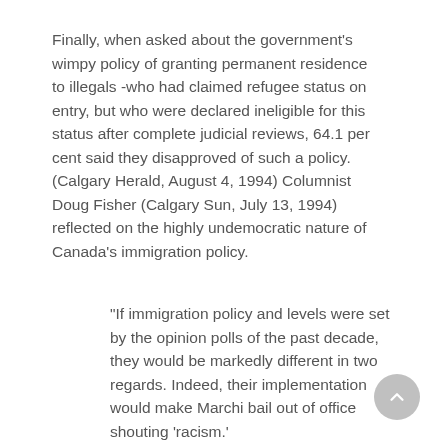Finally, when asked about the government's wimpy policy of granting permanent residence to illegals -who had claimed refugee status on entry, but who were declared ineligible for this status after complete judicial reviews, 64.1 per cent said they disapproved of such a policy. (Calgary Herald, August 4, 1994) Columnist Doug Fisher (Calgary Sun, July 13, 1994) reflected on the highly undemocratic nature of Canada's immigration policy.
"If immigration policy and levels were set by the opinion polls of the past decade, they would be markedly different in two regards. Indeed, their implementation would make Marchi bail out of office shouting 'racism.'